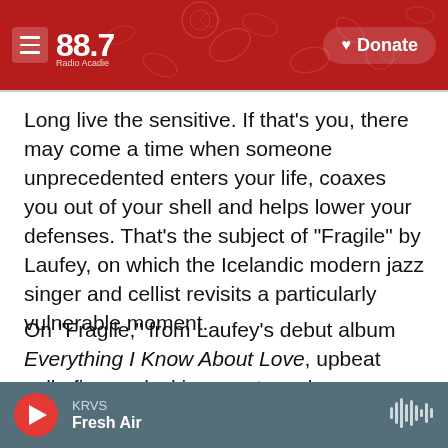KRVS 88.7 Radio Acadie — Donate
Long live the sensitive. If that's you, there may come a time when someone unprecedented enters your life, coaxes you out of your shell and helps lower your defenses. That's the subject of "Fragile" by Laufey, on which the Icelandic modern jazz singer and cellist revisits a particularly vulnerable moment.
On "Fragile," from Laufey's debut album Everything I Know About Love, upbeat cello finger-plucking creates a bossa nova-esque melody that counters the lyrical content. The song is a delicate display of
KRVS Fresh Air